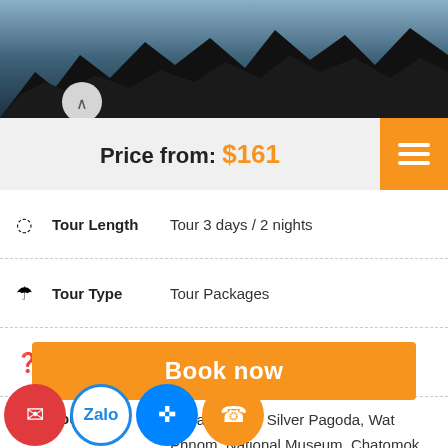[Figure (photo): Dark rocky landscape / ruins photo with cloudy blue sky background, shown as page header image]
Price from: $161
| Tour Length | Tour 3 days / 2 nights |
| Tour Type | Tour Packages |
| Start From | Phnom Penh |
| Tour route | Royal Palace, Silver Pagoda, Wat Phnom, National Museum, Chatomok River, Genocide Museum, Killing Fields, Russian Market, Independent monument, Victoria monument, |
Book now